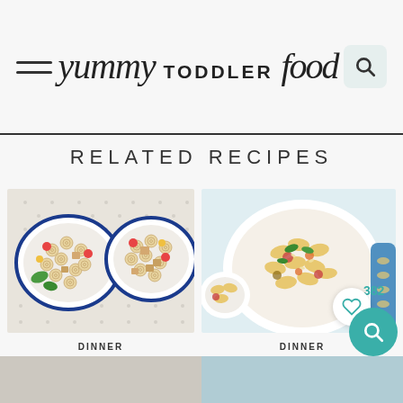yummy TODDLER food
RELATED RECIPES
[Figure (photo): Two white bowls with blue rim filled with wheel-shaped pasta salad with cherry tomatoes, basil, and chicken chunks on a dotted tablecloth]
DINNER
Healthy Pasta Salad with Chicken
[Figure (photo): White bowl of ratatouille pasta with farfalle, topped with herbs and parmesan, with a blue toddler plate visible on the right]
DINNER
Easy Ratatouille Pasta